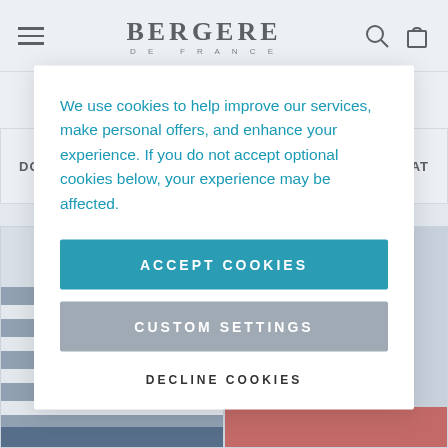BERGERE DE FRANCE
Sort | Filter (40 Items)
DOG... AT
We use cookies to help improve our services, make personal offers, and enhance your experience. If you do not accept optional cookies below, your experience may be affected.
ACCEPT COOKIES
CUSTOM SETTINGS
DECLINE COOKIES